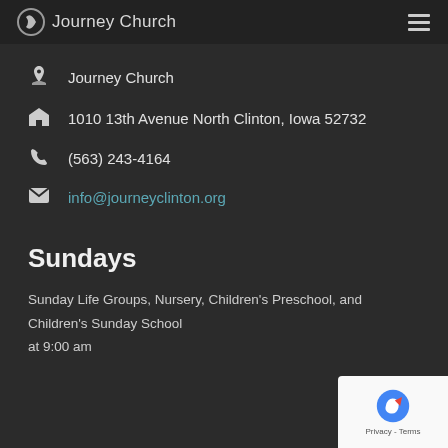Journey Church
Journey Church
1010 13th Avenue North Clinton, Iowa 52732
(563) 243-4164
info@journeyclinton.org
Sundays
Sunday Life Groups, Nursery, Children's Preschool, and Children's Sunday School at 9:00 am
[Figure (logo): reCAPTCHA badge with Privacy and Terms links]